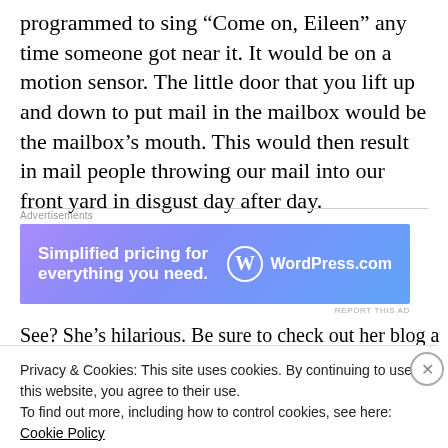programmed to sing “Come on, Eileen” any time someone got near it. It would be on a motion sensor. The little door that you lift up and down to put mail in the mailbox would be the mailbox’s mouth. This would then result in mail people throwing our mail into our front yard in disgust day after day.
[Figure (other): WordPress.com advertisement banner with gradient blue-purple background. Text reads 'Simplified pricing for everything you need.' with WordPress.com logo.]
See? She’s hilarious. Be sure to check out her blog and
Privacy & Cookies: This site uses cookies. By continuing to use this website, you agree to their use.
To find out more, including how to control cookies, see here: Cookie Policy